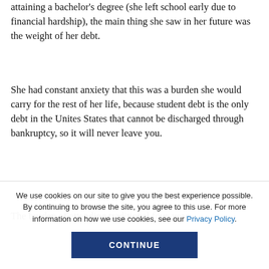attaining a bachelor's degree (she left school early due to financial hardship), the main thing she saw in her future was the weight of her debt.
She had constant anxiety that this was a burden she would carry for the rest of her life, because student debt is the only debt in the Unites States that cannot be discharged through bankruptcy, so it will never leave you.
The burden of attending traditional four-year
We use cookies on our site to give you the best experience possible. By continuing to browse the site, you agree to this use. For more information on how we use cookies, see our Privacy Policy.